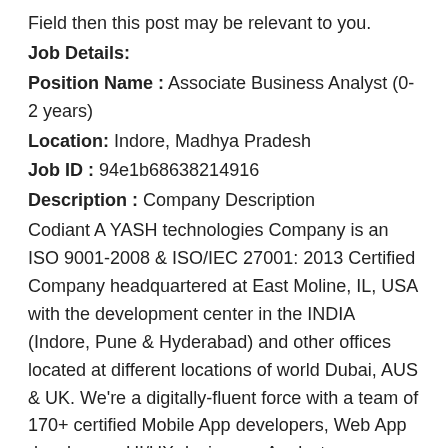Field then this post may be relevant to you.
Job Details:
Position Name : Associate Business Analyst (0-2 years)
Location: Indore, Madhya Pradesh
Job ID : 94e1b68638214916
Description : Company Description Codiant A YASH technologies Company is an ISO 9001-2008 & ISO/IEC 27001: 2013 Certified Company headquartered at East Moline, IL, USA with the development center in the INDIA (Indore, Pune & Hyderabad) and other offices located at different locations of world Dubai, AUS & UK. We're a digitally-fluent force with a team of 170+ certified Mobile App developers, Web App developers, UI/UX designers, Analysts, Managers and Marketers who are well versed with latest